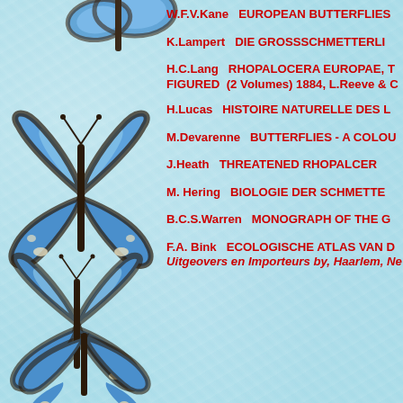[Figure (illustration): Blue morpho butterfly illustration, top center-left]
W.F.V.Kane   EUROPEAN BUTTERFLIES
K.Lampert   DIE GROSSSCHMETTERLI
H.C.Lang   RHOPALOCERA EUROPAE, T
FIGURED  (2 Volumes) 1884, L.Reeve & C
H.Lucas   HISTOIRE NATURELLE DES L
M.Devarenne   BUTTERFLIES - A COLOU
J.Heath   THREATENED RHOPALCER
M. Hering   BIOLOGIE DER SCHMETTE
B.C.S.Warren   MONOGRAPH OF THE G
F.A. Bink   ECOLOGISCHE ATLAS VAN D
Uitgeovers en Importeurs by, Haarlem, Ne